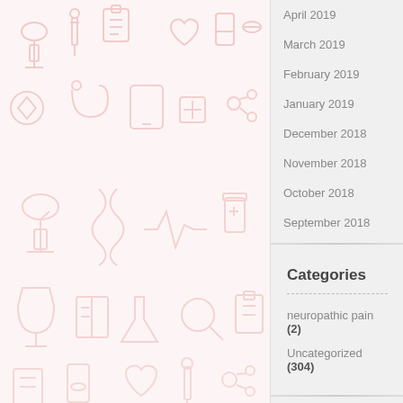[Figure (illustration): Light pink/rose watermark illustration of medical icons including microscope, medical equipment, and other healthcare related symbols on a pale pink background]
April 2019
March 2019
February 2019
January 2019
December 2018
November 2018
October 2018
September 2018
Categories
neuropathic pain (2)
Uncategorized (304)
Meta